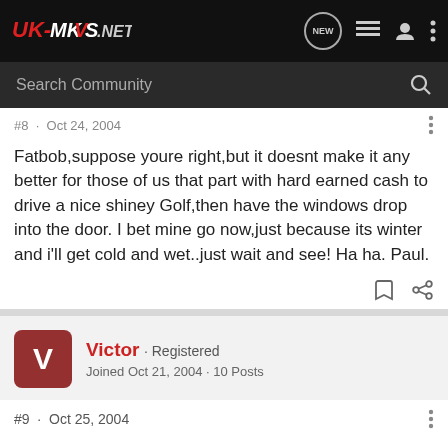UK-MKVS.NET — NEW [icon] [list icon] [user icon] [dots icon]
Search Community
#8 · Oct 24, 2004
Fatbob,suppose youre right,but it doesnt make it any better for those of us that part with hard earned cash to drive a nice shiney Golf,then have the windows drop into the door. I bet mine go now,just because its winter and i'll get cold and wet..just wait and see! Ha ha. Paul.
Victor · Registered
Joined Oct 21, 2004 · 10 Posts
#9 · Oct 25, 2004